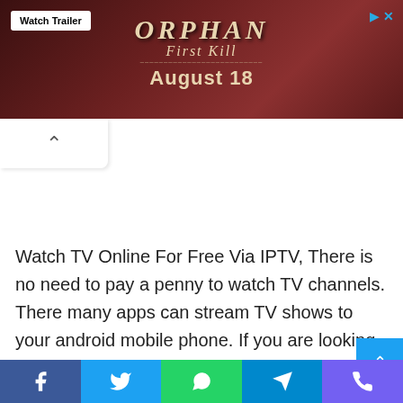[Figure (screenshot): Advertisement banner for 'Orphan: First Kill' movie with Watch Trailer button, set for August 18]
Watch TV Online For Free Via IPTV, There is no need to pay a penny to watch TV channels. There many apps can stream TV shows to your android mobile phone. If you are looking for apps to watch live TV for free on your android smartphone. I have found you a list of top rated and reviewed Android apps for TV. Most of these apps do not stream TV shows from their
Facebook Twitter WhatsApp Telegram Viber